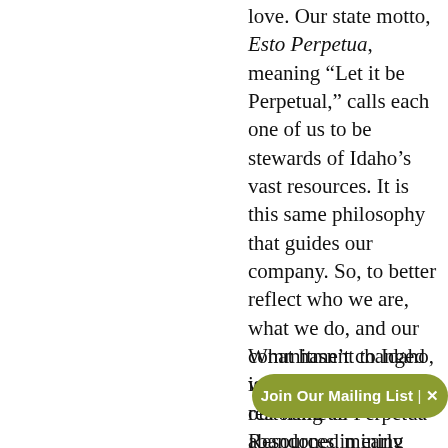love. Our state motto, Esto Perpetua, meaning “Let it be Perpetual,” calls each one of us to be stewards of Idaho’s vast resources. It is this same philosophy that guides our company. So, to better reflect who we are, what we do, and our commitment to Idaho, we proudly changed our name to Perpetua Resources in early 2021.
What hasn’t changed is our dedication to restoring an abandoned mining site, our incredible team leading the way with sustainable mining practices, our commitment to building transparent partnerships, our involvement to positively impact our families
[Figure (other): A green pill-shaped button overlay reading 'Join Our Mailing List | X' (close button)]